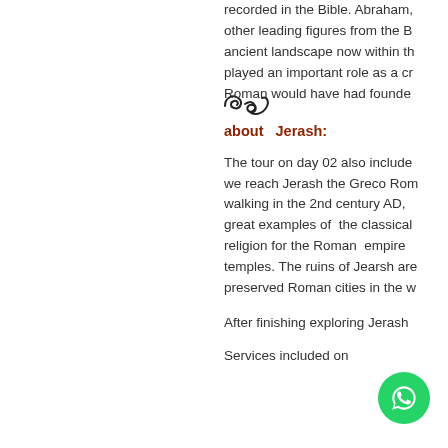[Figure (illustration): Decorative swirl/tilde ornament in dark ink, centered on left half of page]
recorded in the Bible. Abraham, other leading figures from the Bible, ancient landscape now within the played an important role as a crossroads Roman would have had founded
about  Jerash:
The tour on day 02 also includes we reach Jerash the Greco Roman walking in the 2nd century AD, great examples of  the classical religion for the Roman  empire temples. The ruins of Jearsh are preserved Roman cities in the w
After finishing exploring Jerash
Services included on